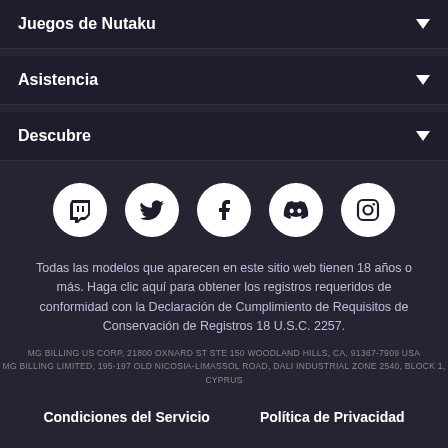Juegos de Nutaku
Asistencia
Descubre
[Figure (infographic): Row of five social media icons (Twitch, Twitter, Facebook, Discord, Instagram) as white circles on dark background]
Todas las modelos que aparecen en este sitio web tienen 18 años o más. Haga clic aquí para obtener los registros requeridos de conformidad con la Declaración de Cumplimiento de Requisitos de Conservación de Registros 18 U.S.C. 2257.
MG BILLING US CORP, 21800 OXNARD ST STE 150 WOODLAND HILLS, CA, 91367-7909 USA
MG BILLING LIMITED, 195-197 OLD NICOSIA-LIMASSOL ROAD, DALI INDUSTRIAL ZONE 2540, BLOCK 1, CYPRUS
Condiciones del Servicio    Política de Privacidad